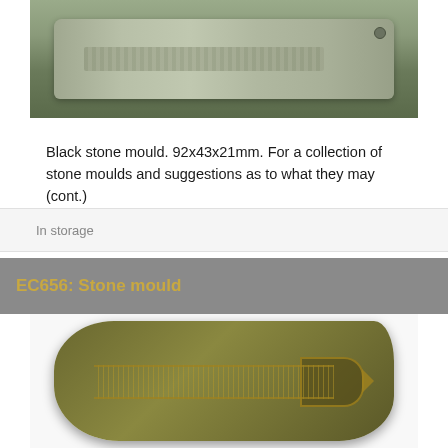[Figure (photo): Photograph of a black stone mould artifact, elongated rectangular shape with carved patterns, viewed from above against a muted background]
Black stone mould. 92x43x21mm. For a collection of stone moulds and suggestions as to what they may (cont.)
In storage
EC656: Stone mould
[Figure (photo): Photograph of EC656 stone mould, dark olive-green stone with carved arrow or feather design, trapezoidal shape, on white background]